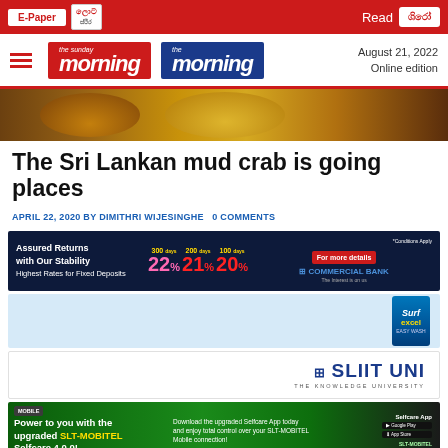E-Paper | Lot Situ | Read [Sinhala]
[Figure (logo): The Sunday Morning and The Morning newspaper logos with hamburger menu icon. Date: August 21, 2022. Online edition.]
[Figure (photo): Food banner image showing bowls of food on a wooden table]
The Sri Lankan mud crab is going places
APRIL 22, 2020 BY DIMITHRI WIJESINGHE   0 COMMENTS
[Figure (infographic): Commercial Bank advertisement: Assured Returns with Our Stability. Highest Rates for Fixed Deposits. 300 days 22%, 200 days 21%, 100 days 20%. For more details. Commercial Bank.]
[Figure (infographic): Surf Excel advertisement with product packaging on light blue background]
[Figure (infographic): SLIIT UNI - The Knowledge University advertisement]
[Figure (infographic): SLT-MOBITEL advertisement: Power to you with the upgraded SLT-MOBITEL Selfcare 4.0.0! Download the upgraded Selfcare App today and enjoy total control over your SLT-MOBITEL Mobile connection!]